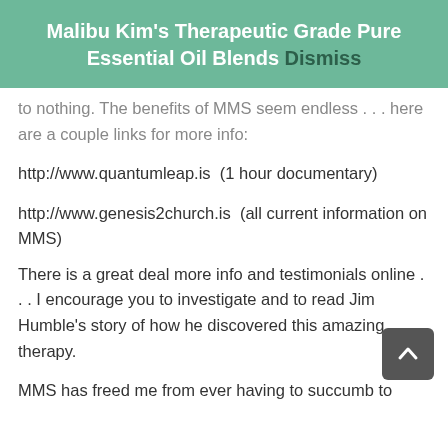Malibu Kim's Therapeutic Grade Pure Essential Oil Blends Dismiss
to nothing. The benefits of MMS seem endless . . . here are a couple links for more info:
http://www.quantumleap.is  (1 hour documentary)
http://www.genesis2church.is  (all current information on MMS)
There is a great deal more info and testimonials online . . . I encourage you to investigate and to read Jim Humble's story of how he discovered this amazing therapy.
MMS has freed me from ever having to succumb to